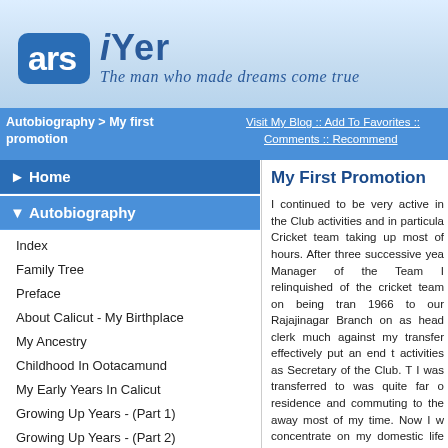ars iYer - The man who made dreams come true
Autobiography > My first promotion :: Visit My Blog :: Add To Favorites :: Comments :: Recommend
▶ Home
▼ Autobiography
Index
Family Tree
Preface
About Calicut - My Birthplace
My Ancestry
Childhood In Ootacamund
My Early Years In Calicut
Growing Up Years - (Part 1)
Growing Up Years - (Part 2)
My Love For English And Scent Of
My First Promotion
I continued to be very active in the Club activities and in particular Cricket team taking up most of hours. After three successive years as Manager of the Team I relinquished of the cricket team on being transferred 1966 to our Rajajinagar Branch on as head clerk much against my transfer effectively put an end to activities as Secretary of the Club. The I was transferred to was quite far of residence and commuting to the away most of my time. Now I was concentrate on my domestic life mor